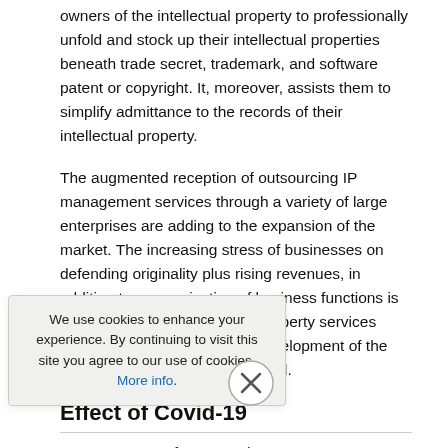owners of the intellectual property to professionally unfold and stock up their intellectual properties beneath trade secret, trademark, and software patent or copyright. It, moreover, assists them to simplify admittance to the records of their intellectual property.
The augmented reception of outsourcing IP management services through a variety of large enterprises are adding to the expansion of the market. The increasing stress of businesses on defending originality plus rising revenues, in addition to reorganization of business functions is likely to steer the intellectual property services section, thus stimulating the development of the market during the forecast period.
Effect of Covid-19
…anagement software market …ment, throughout the initial half of …se of the Covid-19 illness. A …fices, businesses and
We use cookies to enhance your experience. By continuing to visit this site you agree to our use of cookies. More info.